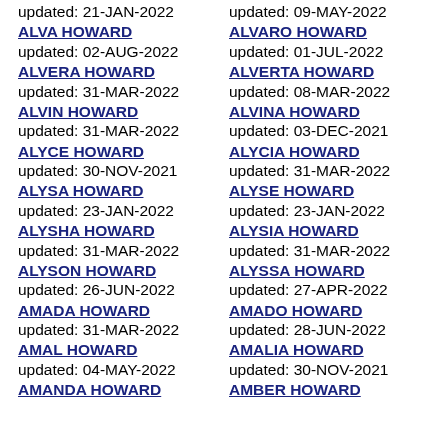updated: 21-JAN-2022
updated: 09-MAY-2022
ALVA HOWARD
updated: 02-AUG-2022
ALVARO HOWARD
updated: 01-JUL-2022
ALVERA HOWARD
updated: 31-MAR-2022
ALVERTA HOWARD
updated: 08-MAR-2022
ALVIN HOWARD
updated: 31-MAR-2022
ALVINA HOWARD
updated: 03-DEC-2021
ALYCE HOWARD
updated: 30-NOV-2021
ALYCIA HOWARD
updated: 31-MAR-2022
ALYSA HOWARD
updated: 23-JAN-2022
ALYSE HOWARD
updated: 23-JAN-2022
ALYSHA HOWARD
updated: 31-MAR-2022
ALYSIA HOWARD
updated: 31-MAR-2022
ALYSON HOWARD
updated: 26-JUN-2022
ALYSSA HOWARD
updated: 27-APR-2022
AMADA HOWARD
updated: 31-MAR-2022
AMADO HOWARD
updated: 28-JUN-2022
AMAL HOWARD
updated: 04-MAY-2022
AMALIA HOWARD
updated: 30-NOV-2021
AMANDA HOWARD
AMBER HOWARD